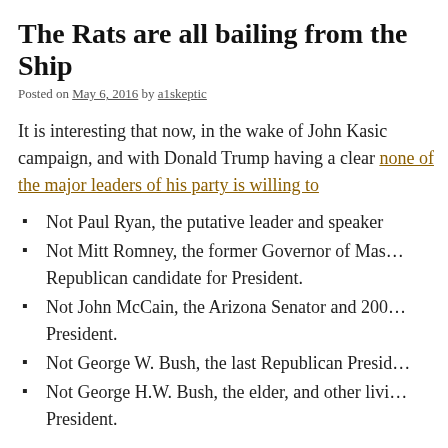The Rats are all bailing from the Ship
Posted on May 6, 2016 by a1skeptic
It is interesting that now, in the wake of John Kasic campaign, and with Donald Trump having a clear none of the major leaders of his party is willing to
Not Paul Ryan, the putative leader and speaker
Not Mitt Romney, the former Governor of Massachusetts and Republican candidate for President.
Not John McCain, the Arizona Senator and 2008 candidate for President.
Not George W. Bush, the last Republican President.
Not George H.W. Bush, the elder, and other living Republican President.
And they're hardly the only ones. There's already who refuse to endorse Donald Trump. For Christ's opined that Hillary might be a better President than